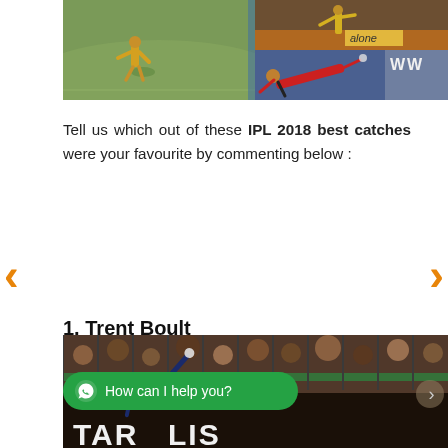[Figure (photo): Cricket image collage showing cricket fielding/catching moments from IPL 2018 — three photos arranged with one large photo on left (yellow jersey fielder on green pitch) and two smaller photos stacked on right (yellow jersey catch and red jersey player diving)]
Tell us which out of these IPL 2018 best catches were your favourite by commenting below :
1. Trent Boult
[Figure (photo): Cricket stadium photo showing Trent Boult taking a catch near the boundary rope, with crowd visible in background and advertising hoardings including TARPOLIS at the bottom]
How can I help you?